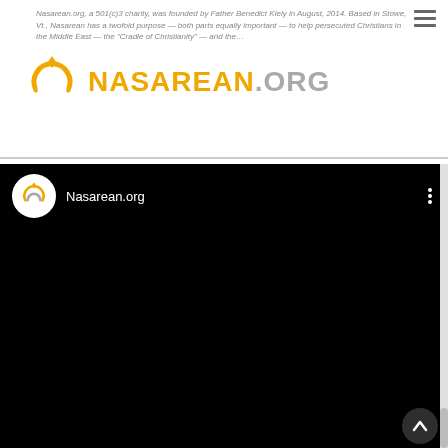Nasarean.org, a 501(c)3 charity, was founded by Father Benedict Kiely in August, 2014. Based in Stowe, Vt., Nasarean has a twofold purpose — both parts equally important — to help persecuted Christians in the Middle East — the "Cradle of Christianity" — and the…
[Figure (logo): Nasarean.org logo with golden crescent-like symbol and text]
[Figure (screenshot): YouTube-style video player with Nasarean.org channel header on black background, showing logo, channel name, three-dot menu, black video area, and an up-arrow scroll button in bottom right]